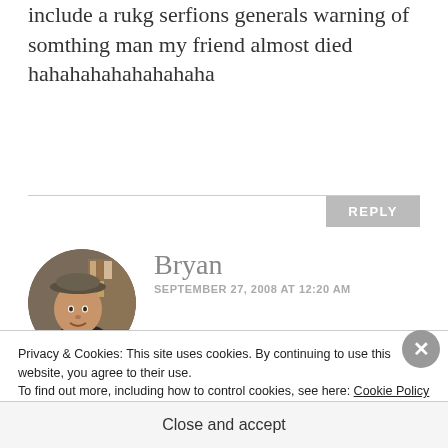include a rukg serfions generals warning of somthing man my friend almost died hahahahahahahahaha
REPLY
[Figure (photo): Circular avatar photo of Bryan, a middle-aged man wearing a cap, smiling]
Bryan
SEPTEMBER 27, 2008 AT 12:20 AM
These guys are both pathetic. I think we'll all need to buy our alcohol by
Privacy & Cookies: This site uses cookies. By continuing to use this website, you agree to their use.
To find out more, including how to control cookies, see here: Cookie Policy
Close and accept